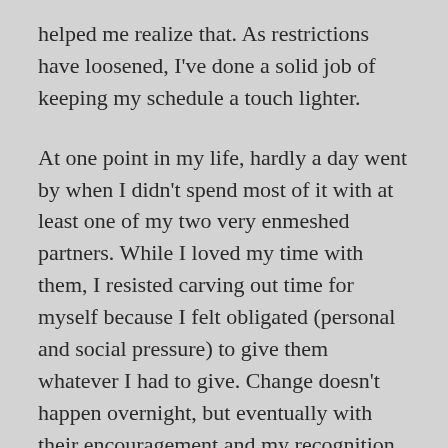helped me realize that. As restrictions have loosened, I've done a solid job of keeping my schedule a touch lighter.
At one point in my life, hardly a day went by when I didn't spend most of it with at least one of my two very enmeshed partners. While I loved my time with them, I resisted carving out time for myself because I felt obligated (personal and social pressure) to give them whatever I had to give. Change doesn't happen overnight, but eventually with their encouragement and my recognition of my own struggles with codependency, I grew more comfortable doing just that.
Money is another finite resource that can get tricky. Some people have none while others have more than they could spend in one hundred lifetimes. Like